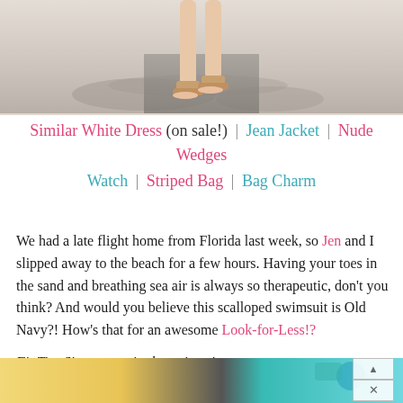[Figure (photo): Top portion of a photo showing a person's legs and feet wearing nude wedge sandals, walking on a surface with dappled light/shadows.]
Similar White Dress (on sale!) | Jean Jacket | Nude Wedges
Watch | Striped Bag | Bag Charm
We had a late flight home from Florida last week, so Jen and I slipped away to the beach for a few hours. Having your toes in the sand and breathing sea air is always so therapeutic, don't you think? And would you believe this scalloped swimsuit is Old Navy?! How's that for an awesome Look-for-Less!?
Fit Tip: Size up one in the swimsuit.
[Figure (photo): Bottom portion showing colorful items including what appears to be swimwear accessories in yellow, teal and turquoise colors.]